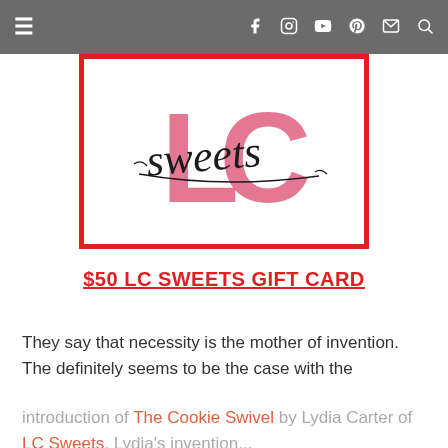≡  [social icons: Facebook, Instagram, YouTube, Pinterest, Email, Search]
[Figure (logo): LC Sweets logo — large pink 'LC' monogram letters with a red rectangular border, and 'sweets' written in black cursive script across the center]
$50 LC SWEETS GIFT CARD
They say that necessity is the mother of invention. The definitely seems to be the case with the
introduction of The Cookie Swivel by Lydia Carter of LC Sweets. Lydia's invention...